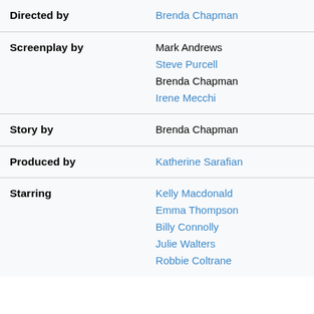| Role | Person |
| --- | --- |
| Directed by | Mark Andrews
Brenda Chapman |
| Screenplay by | Mark Andrews
Steve Purcell
Brenda Chapman
Irene Mecchi |
| Story by | Brenda Chapman |
| Produced by | Katherine Sarafian |
| Starring | Kelly Macdonald
Emma Thompson
Billy Connolly
Julie Walters
Robbie Coltrane |